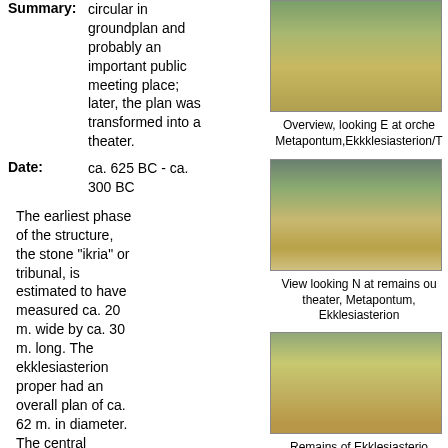Summary: circular in groundplan and probably an important public meeting place; later, the plan was transformed into a theater.
[Figure (photo): Overview looking E at orchestra area, Metapontum, Ekkklesiasterion/Theater]
Overview, looking E at orche Metapontum,Ekkklesiasterion/T
Date: ca. 625 BC - ca. 300 BC
The earliest phase of the structure, the stone "ikria" or tribunal, is estimated to have measured ca. 20 m. wide by ca. 30 m. long. The ekklesiasterion proper had an overall plan of ca. 62 m. in diameter. The central rectangular area
[Figure (photo): View looking N at remains of theater, Metapontum, Ekklesiasterion]
View looking N at remains ou theater, Metapontum, Ekklesiasterion
[Figure (photo): Remains of Ekklesiasterion]
Remains of Ekklesiasterio
Dimensions: measured ca.